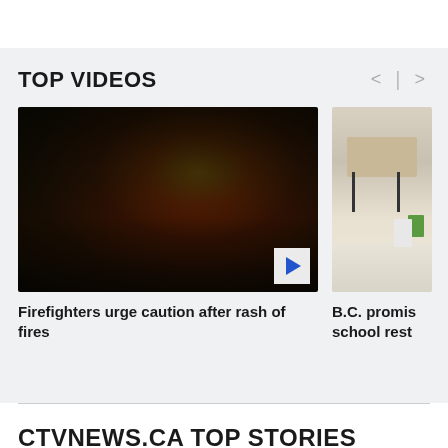TOP VIDEOS
[Figure (screenshot): Video thumbnail showing a forest fire with smoke and flames among trees and rocks, with a play button overlay in the bottom right corner.]
Firefighters urge caution after rash of fires
[Figure (screenshot): Partial video thumbnail showing a classroom with chairs, desks, and cleaning buckets on the floor.]
B.C. promis school rest
CTVNEWS.CA TOP STORIES